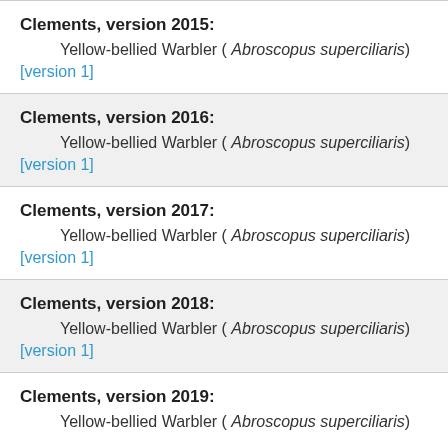Clements, version 2015:
Yellow-bellied Warbler ( Abroscopus superciliaris)
[version 1]
Clements, version 2016:
Yellow-bellied Warbler ( Abroscopus superciliaris)
[version 1]
Clements, version 2017:
Yellow-bellied Warbler ( Abroscopus superciliaris)
[version 1]
Clements, version 2018:
Yellow-bellied Warbler ( Abroscopus superciliaris)
[version 1]
Clements, version 2019:
Yellow-bellied Warbler ( Abroscopus superciliaris)